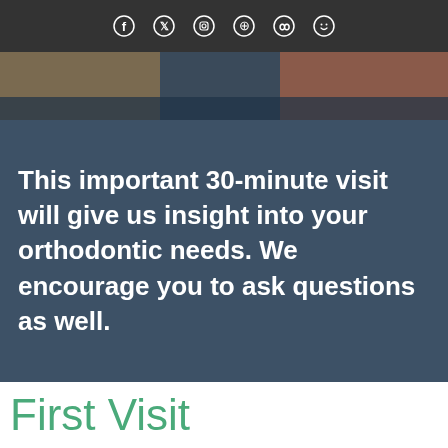Facebook Twitter Instagram Pinterest Yelp Smiley
[Figure (photo): Close-up photo of hands and dental/orthodontic materials on a dark surface]
This important 30-minute visit will give us insight into your orthodontic needs. We encourage you to ask questions as well.
First Visit